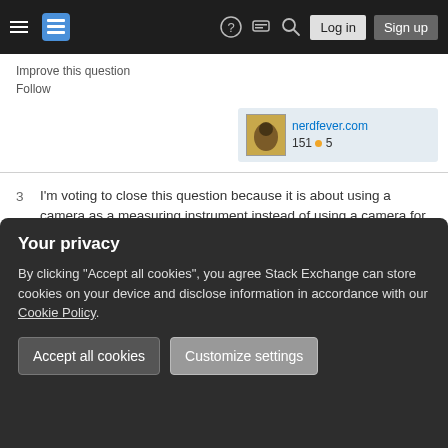Stack Exchange navigation: hamburger menu, logo, help, chat, search, Log in, Sign up
Improve this question
Follow
[Figure (screenshot): User card showing nerdfever.com with avatar, 151 reputation and 5 badges]
3  I'm voting to close this question because it is about using a camera as a measuring instrument instead of using a camera for the purpose of producing photographs for artistic, historical, or documentary purposes (as stated in the Photography SE community guidelines and meta discussions). – Michael C  Mar 31, 2021 at 5:37
Add a comment
Your privacy
By clicking "Accept all cookies", you agree Stack Exchange can store cookies on your device and disclose information in accordance with our Cookie Policy.
Accept all cookies  Customize settings